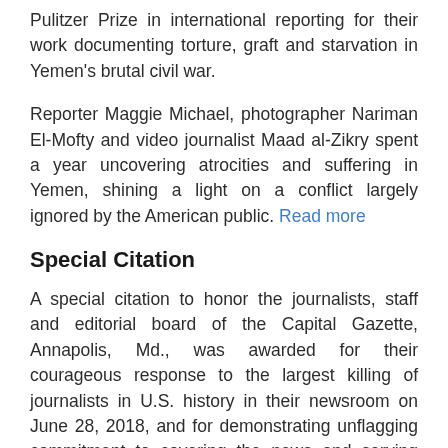Pulitzer Prize in international reporting for their work documenting torture, graft and starvation in Yemen's brutal civil war.
Reporter Maggie Michael, photographer Nariman El-Mofty and video journalist Maad al-Zikry spent a year uncovering atrocities and suffering in Yemen, shining a light on a conflict largely ignored by the American public. Read more
Special Citation
A special citation to honor the journalists, staff and editorial board of the Capital Gazette, Annapolis, Md., was awarded for their courageous response to the largest killing of journalists in U.S. history in their newsroom on June 28, 2018, and for demonstrating unflagging commitment to covering the news and serving their community at a time of unspeakable grief. The citation comes with a $100,000 bequest by the Pulitzer Board to be used to further the